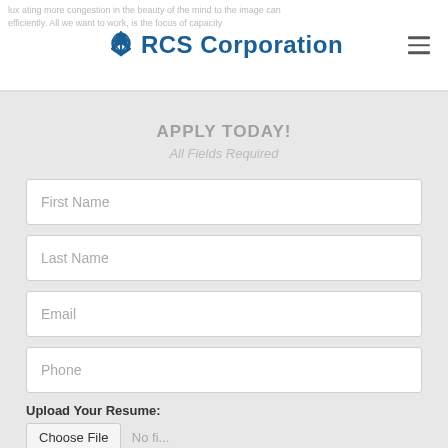RCS Corporation
APPLY TODAY!
All Fields Required
First Name
Last Name
Email
Phone
Upload Your Resume:
Choose File  No fi...